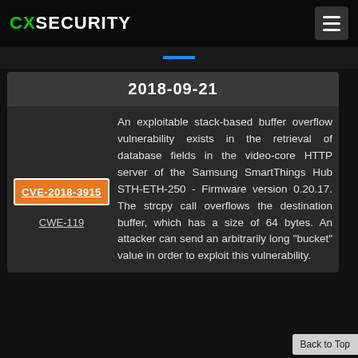CXSECURITY
2018-09-21
CVE-2018-3915
CWE-119
An exploitable stack-based buffer overflow vulnerability exists in the retrieval of database fields in the video-core HTTP server of the Samsung SmartThings Hub STH-ETH-250 - Firmware version 0.20.17. The strcpy call overflows the destination buffer, which has a size of 64 bytes. An attacker can send an arbitrarily long "bucket" value in order to exploit this vulnerability.